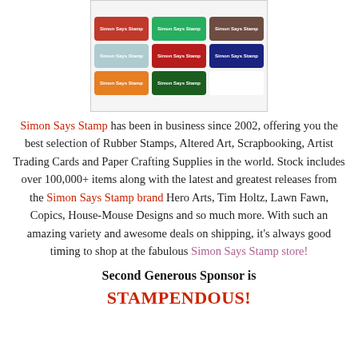[Figure (photo): Grid of Simon Says Stamp ink pad product boxes in various colors including red, green, brown, light blue, crimson, dark navy, yellow/orange, and dark teal.]
Simon Says Stamp has been in business since 2002, offering you the best selection of Rubber Stamps, Altered Art, Scrapbooking, Artist Trading Cards and Paper Crafting Supplies in the world. Stock includes over 100,000+ items along with the latest and greatest releases from the Simon Says Stamp brand Hero Arts, Tim Holtz, Lawn Fawn, Copics, House-Mouse Designs and so much more. With such an amazing variety and awesome deals on shipping, it's always good timing to shop at the fabulous Simon Says Stamp store!
Second Generous Sponsor is
STAMPENDOUS!